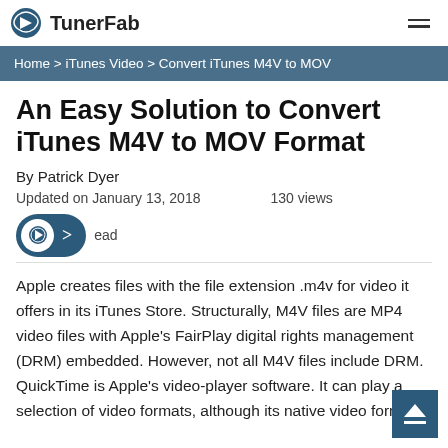TunerFab
Home > iTunes Video > Convert iTunes M4V to MOV
An Easy Solution to Convert iTunes M4V to MOV Format
By Patrick Dyer
Updated on January 13, 2018    130 views
read
Apple creates files with the file extension .m4v for video it offers in its iTunes Store. Structurally, M4V files are MP4 video files with Apple's FairPlay digital rights management (DRM) embedded. However, not all M4V files include DRM. QuickTime is Apple's video-player software. It can play a selection of video formats, although its native video format